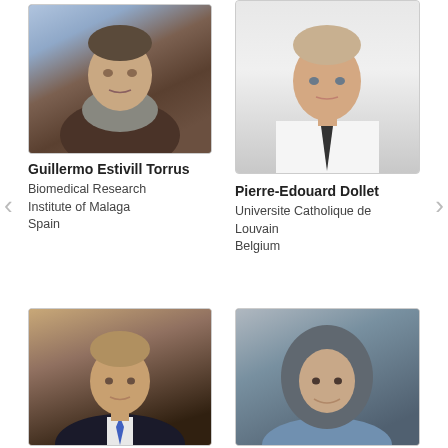[Figure (photo): Portrait photo of Guillermo Estivill Torrus, a middle-aged man with a scarf, arms crossed, outdoors]
Guillermo Estivill Torrus
Biomedical Research Institute of Malaga
Spain
[Figure (photo): Portrait photo of Pierre-Edouard Dollet, a young man in a white shirt and dark tie]
Pierre-Edouard Dollet
Universite Catholique de Louvain
Belgium
[Figure (photo): Portrait photo of a man in a dark suit and blue tie]
[Figure (photo): Portrait photo of a woman wearing a grey hijab and denim jacket, smiling]